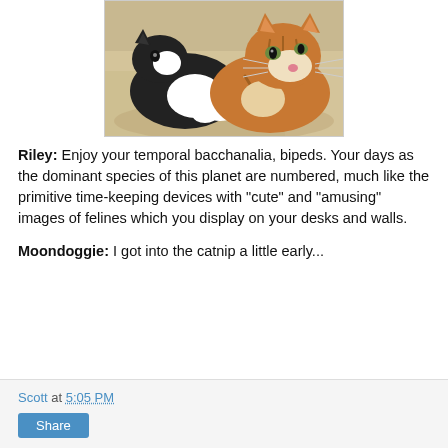[Figure (photo): Two cats lying close together on a light-colored surface. One is a black and white cat and the other is an orange tabby cat.]
Riley:  Enjoy your temporal bacchanalia, bipeds.  Your days as the dominant species of this planet are numbered, much like the primitive time-keeping devices with "cute" and "amusing" images of felines which you display on your desks and walls.

Moondoggie:  I got into the catnip a little early...
Scott at 5:05 PM
Share